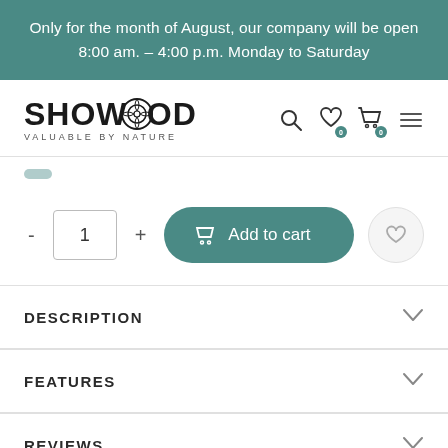Only for the month of August, our company will be open 8:00 am. – 4:00 p.m. Monday to Saturday
[Figure (logo): SHOWOOD logo with tagline VALUABLE BY NATURE and navigation icons (search, wishlist, cart, menu)]
[Figure (screenshot): Product quantity selector with minus button, quantity box showing 1, plus button, Add to cart button with basket icon, and heart/wishlist button]
DESCRIPTION
FEATURES
REVIEWS